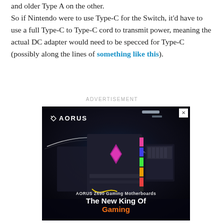and older Type A on the other. So if Nintendo were to use Type-C for the Switch, it'd have to use a full Type-C to Type-C cord to transmit power, meaning the actual DC adapter would need to be specced for Type-C (possibly along the lines of something like this).
ADVERTISEMENT
[Figure (photo): AORUS Z690 Gaming Motherboards advertisement with dark sci-fi background showing multiple gaming motherboards with RGB lighting. Text reads 'AORUS Z690 Gaming Motherboards — The New King Of Gaming']